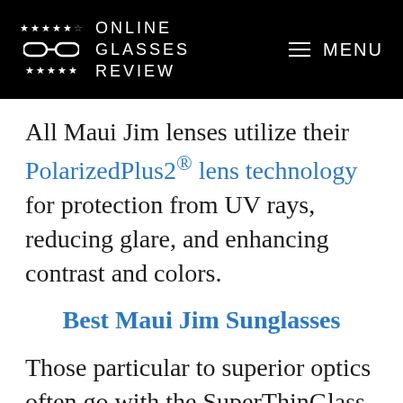ONLINE GLASSES REVIEW | MENU
All Maui Jim lenses utilize their PolarizedPlus2® lens technology for protection from UV rays, reducing glare, and enhancing contrast and colors.
Best Maui Jim Sunglasses
Those particular to superior optics often go with the SuperThinGlass lens for its optical clarity. For lighter, more impact-resistant lenses, either the Maui Brilliant or